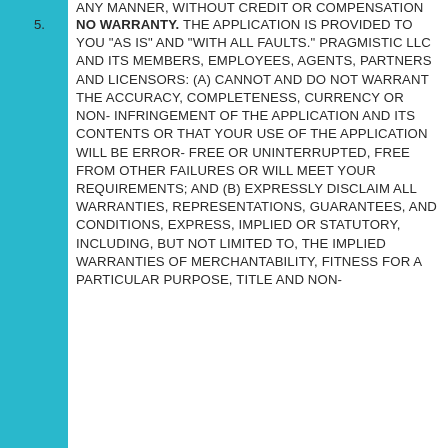5. NO WARRANTY. THE APPLICATION IS PROVIDED TO YOU "AS IS" AND "WITH ALL FAULTS." PRAGMISTIC LLC AND ITS MEMBERS, EMPLOYEES, AGENTS, PARTNERS AND LICENSORS: (A) CANNOT AND DO NOT WARRANT THE ACCURACY, COMPLETENESS, CURRENCY OR NON- INFRINGEMENT OF THE APPLICATION AND ITS CONTENTS OR THAT YOUR USE OF THE APPLICATION WILL BE ERROR-FREE OR UNINTERRUPTED, FREE FROM OTHER FAILURES OR WILL MEET YOUR REQUIREMENTS; AND (B) EXPRESSLY DISCLAIM ALL WARRANTIES, REPRESENTATIONS, GUARANTEES, AND CONDITIONS, EXPRESS, IMPLIED OR STATUTORY, INCLUDING, BUT NOT LIMITED TO, THE IMPLIED WARRANTIES OF MERCHANTABILITY, FITNESS FOR A PARTICULAR PURPOSE, TITLE AND NON-